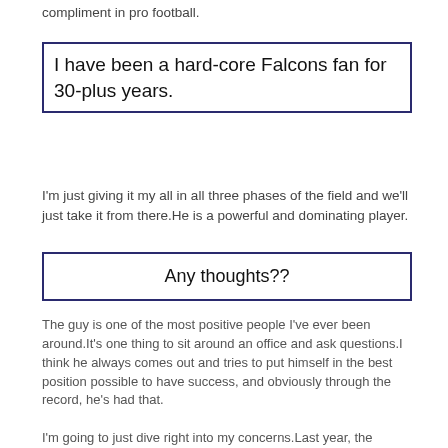compliment in pro football.
I have been a hard-core Falcons fan for 30-plus years.
I'm just giving it my all in all three phases of the field and we'll just take it from there.He is a powerful and dominating player.
Any thoughts??
The guy is one of the most positive people I've ever been around.It's one thing to sit around an office and ask questions.I think he always comes out and tries to put himself in the best position possible to have success, and obviously through the record, he's had that.
I'm going to just dive right into my concerns.Last year, the Buccaneers averaged 24 points per game on their way to a new franchise scoring record of 396 points.But that should not diminish any on-field accomplishments that take place this year.
Another positive was that first team defense.So, is it Justin Fields? Then my staff being available just lit a fire back in me.